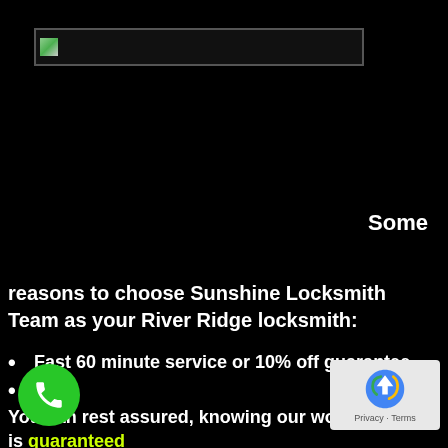[Figure (logo): Company logo placeholder image in a bordered box]
Some
reasons to choose Sunshine Locksmith Team as your River Ridge locksmith:
Fast 60 minute service or 10% off guarantee
You can rest assured, knowing our work is guaranteed
Up-front pricing, free of hidden charges
An unrivalled two year warranty on most parts and labor
Our deadbolts and knobset/leverset locke...